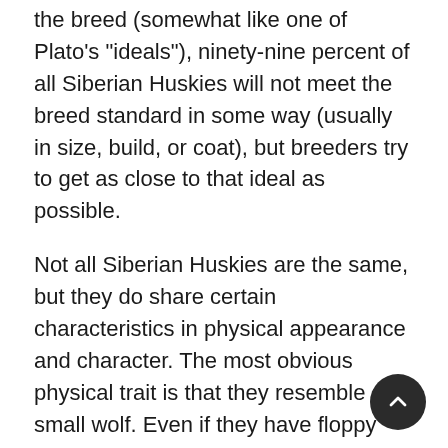the breed (somewhat like one of Plato's "ideals"), ninety-nine percent of all Siberian Huskies will not meet the breed standard in some way (usually in size, build, or coat), but breeders try to get as close to that ideal as possible.
Not all Siberian Huskies are the same, but they do share certain characteristics in physical appearance and character. The most obvious physical trait is that they resemble a small wolf. Even if they have floppy ears and curly fur, most Siberian Huskies still have a wolfish look that cuts through you. You can almost hear the wind blow when you look at the face. Although famous for its ice blue eyes, a Siberian Husky can have brown or oddly colored eyes.
They are medium sized dogs, usually fifty pounds, ele and athletic. They are boxy dogs, built to efficiently maintain